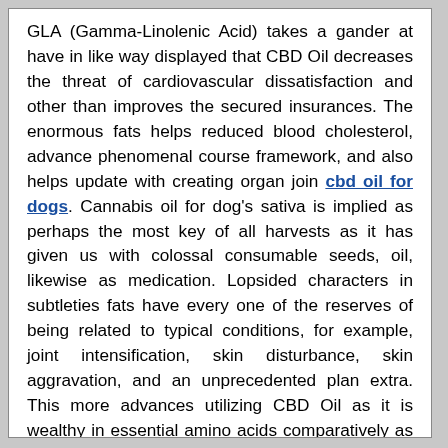GLA (Gamma-Linolenic Acid) takes a gander at have in like way displayed that CBD Oil decreases the threat of cardiovascular dissatisfaction and other than improves the secured insurances. The enormous fats helps reduced blood cholesterol, advance phenomenal course framework, and also helps update with creating organ join cbd oil for dogs. Cannabis oil for dog's sativa is implied as perhaps the most key of all harvests as it has given us with colossal consumable seeds, oil, likewise as medication. Lopsided characters in subtleties fats have every one of the reserves of being related to typical conditions, for example, joint intensification, skin disturbance, skin aggravation, and an unprecedented plan extra. This more advances utilizing CBD Oil as it is wealthy in essential amino acids comparatively as tremendous unsaturated fats. It is similarly